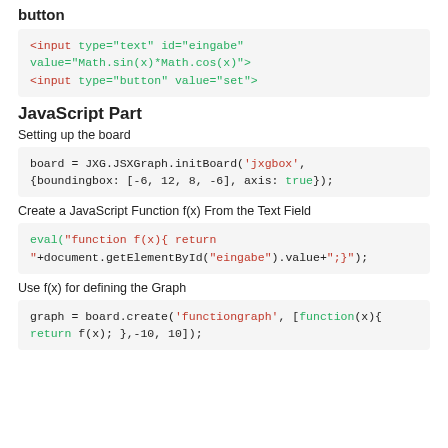button
<input type="text" id="eingabe" value="Math.sin(x)*Math.cos(x)">
<input type="button" value="set" onClick="doIt()">
JavaScript Part
Setting up the board
board = JXG.JSXGraph.initBoard('jxgbox',
{boundingbox: [-6, 12, 8, -6], axis: true});
Create a JavaScript Function f(x) From the Text Field
eval("function f(x){ return "+document.getElementById("eingabe").value+";");
Use f(x) for defining the Graph
graph = board.create('functiongraph', [function(x){
return f(x); },-10, 10]);